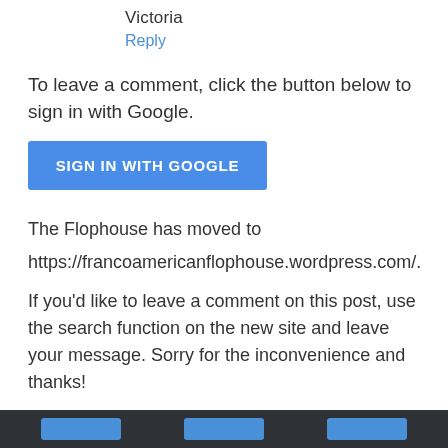Victoria
Reply
To leave a comment, click the button below to sign in with Google.
[Figure (other): Blue button labeled SIGN IN WITH GOOGLE]
The Flophouse has moved to
https://francoamericanflophouse.wordpress.com/.
If you'd like to leave a comment on this post, use the search function on the new site and leave your message. Sorry for the inconvenience and thanks!
Note: Only a member of this blog may post a comment.